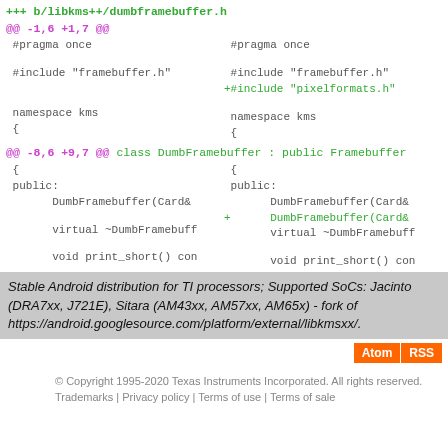+++ b/libkms++/dumbframebuffer.h
@@ -1,6 +1,7 @@ #pragma once   #pragma once   #include "framebuffer.h"   #include "framebuffer.h"   +#include "pixelformats.h"   namespace kms   namespace kms   {   {
@@ -8,6 +9,7 @@ class DumbFramebuffer : public Framebuffer   {   {   public:   public:   DumbFramebuffer(Card&   DumbFramebuffer(Card&   +   DumbFramebuffer(Card&   virtual ~DumbFramebuff   virtual ~DumbFramebuff   void print_short() con   void print_short() con
Stable Android distribution for TI processors; Supported SoCs: Jacinto (DRA7xx, J721E), Sitara (AM43xx, AM57xx, AM65x) - fork of https://android.googlesource.com/platform/external/libkmsxx/.
Atom RSS
© Copyright 1995-2020 Texas Instruments Incorporated. All rights reserved. Trademarks | Privacy policy | Terms of use | Terms of sale